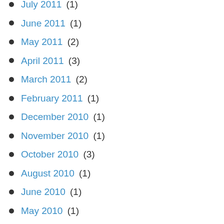July 2011 (1)
June 2011 (1)
May 2011 (2)
April 2011 (3)
March 2011 (2)
February 2011 (1)
December 2010 (1)
November 2010 (1)
October 2010 (3)
August 2010 (1)
June 2010 (1)
May 2010 (1)
April 2010 (1)
March 2010 (1)
February 2010 (2)
December 2009 (5)
November 2009 (2)